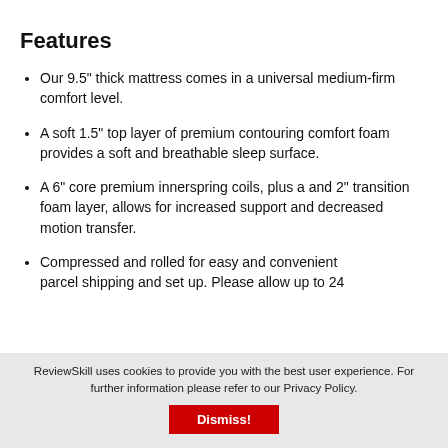Features
Our 9.5" thick mattress comes in a universal medium-firm comfort level.
A soft 1.5" top layer of premium contouring comfort foam provides a soft and breathable sleep surface.
A 6" core premium innerspring coils, plus a and 2" transition foam layer, allows for increased support and decreased motion transfer.
Compressed and rolled for easy and convenient parcel shipping and set up. Please allow up to 24
ReviewSkill uses cookies to provide you with the best user experience. For further information please refer to our Privacy Policy. Dismiss!